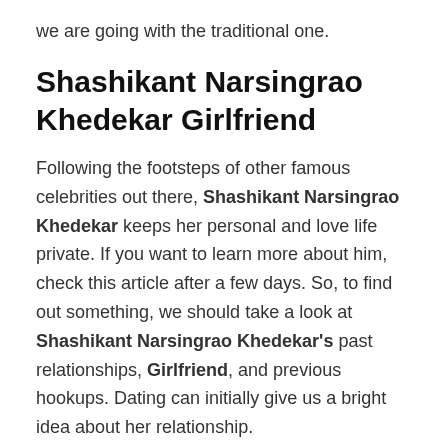we are going with the traditional one.
Shashikant Narsingrao Khedekar Girlfriend
Following the footsteps of other famous celebrities out there, Shashikant Narsingrao Khedekar keeps her personal and love life private. If you want to learn more about him, check this article after a few days. So, to find out something, we should take a look at Shashikant Narsingrao Khedekar's past relationships, Girlfriend, and previous hookups. Dating can initially give us a bright idea about her relationship.